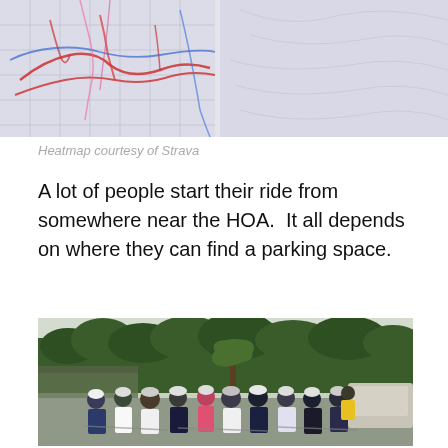[Figure (map): Strava heatmap showing cycling routes near HOA area, with red and blue route lines overlaid on a light grey topographic background]
Heatmap courtesy of Strava
A lot of people start their ride from somewhere near the HOA.  It all depends on where they can find a parking space.
[Figure (photo): Group photo of cyclists in helmets and cycling gear gathered at an outdoor parking area with lush green trees and tropical vegetation in the background]